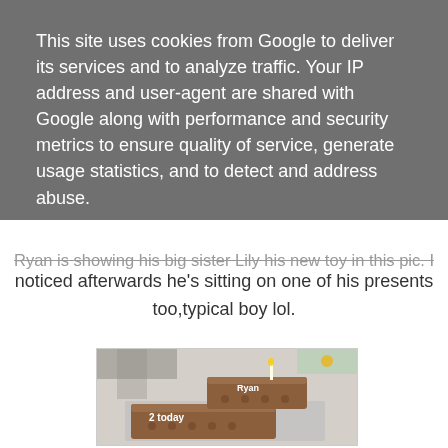This site uses cookies from Google to deliver its services and to analyze traffic. Your IP address and user-agent are shared with Google along with performance and security metrics to ensure quality of service, generate usage statistics, and to detect and address abuse.
LEARN MORE    OK
Ryan is showing his big sister Lily his new toy in this pic. I noticed afterwards he's sitting on one of his presents too,typical boy lol.
[Figure (photo): A chocolate birthday cake shaped like the number 2, decorated with 'Ryan' written in white icing on the top tier and '2 today' on the lower tier, with a single candle, placed on a silver cake board.]